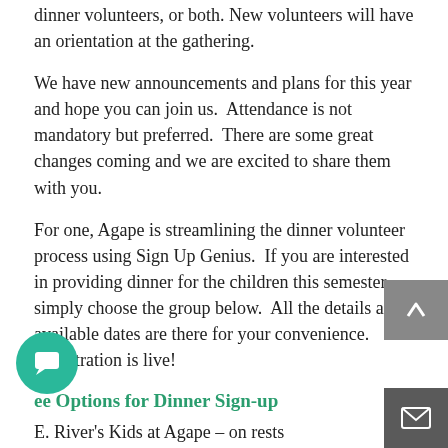dinner volunteers, or both. New volunteers will have an orientation at the gathering.
We have new announcements and plans for this year and hope you can join us. Attendance is not mandatory but preferred. There are some great changes coming and we are excited to share them with you.
For one, Agape is streamlining the dinner volunteer process using Sign Up Genius. If you are interested in providing dinner for the children this semester, simply choose the group below. All the details and available dates are there for your convenience. Registration is live!
ee Options for Dinner Sign-up
E. River's Kids at Agape - on rests